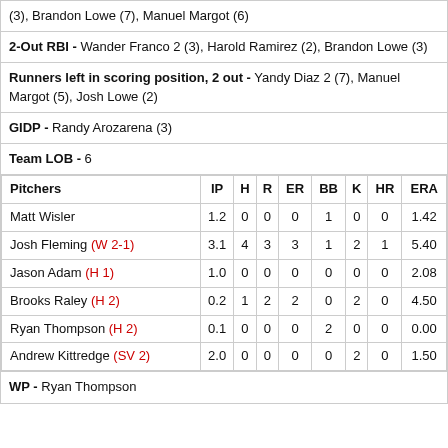(3), Brandon Lowe (7), Manuel Margot (6)
2-Out RBI - Wander Franco 2 (3), Harold Ramirez (2), Brandon Lowe (3)
Runners left in scoring position, 2 out - Yandy Diaz 2 (7), Manuel Margot (5), Josh Lowe (2)
GIDP - Randy Arozarena (3)
Team LOB - 6
| Pitchers | IP | H | R | ER | BB | K | HR | ERA |
| --- | --- | --- | --- | --- | --- | --- | --- | --- |
| Matt Wisler | 1.2 | 0 | 0 | 0 | 1 | 0 | 0 | 1.42 |
| Josh Fleming (W 2-1) | 3.1 | 4 | 3 | 3 | 1 | 2 | 1 | 5.40 |
| Jason Adam (H 1) | 1.0 | 0 | 0 | 0 | 0 | 0 | 0 | 2.08 |
| Brooks Raley (H 2) | 0.2 | 1 | 2 | 2 | 0 | 2 | 0 | 4.50 |
| Ryan Thompson (H 2) | 0.1 | 0 | 0 | 0 | 2 | 0 | 0 | 0.00 |
| Andrew Kittredge (SV 2) | 2.0 | 0 | 0 | 0 | 0 | 2 | 0 | 1.50 |
WP - Ryan Thompson